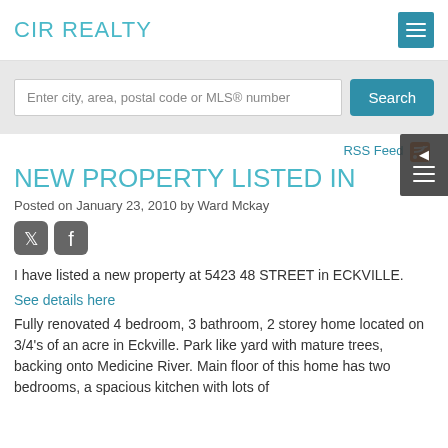CIR REALTY
Enter city, area, postal code or MLS® number
Search
RSS Feed
NEW PROPERTY LISTED IN
Posted on January 23, 2010 by Ward Mckay
I have listed a new property at 5423 48 STREET in ECKVILLE.
See details here
Fully renovated 4 bedroom, 3 bathroom, 2 storey home located on 3/4's of an acre in Eckville. Park like yard with mature trees, backing onto Medicine River. Main floor of this home has two bedrooms, a spacious kitchen with lots of